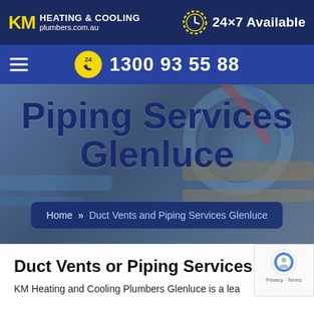[Figure (logo): KM Heating & Cooling plumbers.com.au logo with clock icon and '24×7 Available' text on dark navy background]
1300 93 55 88
Piping Services Glenluce
Home » Duct Vents and Piping Services Glenluce
Duct Vents or Piping Services
KM Heating and Cooling Plumbers Glenluce is a lea